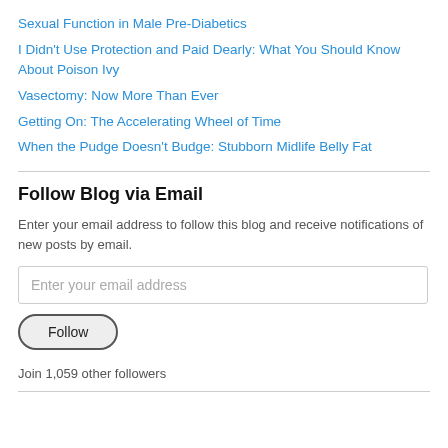Sexual Function in Male Pre-Diabetics
I Didn't Use Protection and Paid Dearly: What You Should Know About Poison Ivy
Vasectomy: Now More Than Ever
Getting On: The Accelerating Wheel of Time
When the Pudge Doesn't Budge: Stubborn Midlife Belly Fat
Follow Blog via Email
Enter your email address to follow this blog and receive notifications of new posts by email.
Enter your email address
Follow
Join 1,059 other followers